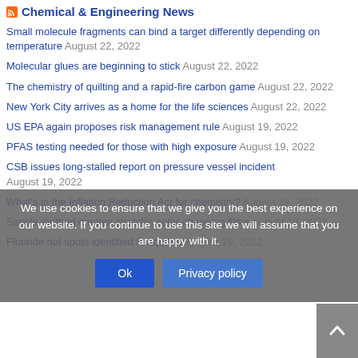Chemical & Engineering News
Small molecule fragments can bind a target differently depending on temperature August 22, 2022
Molecular glues are beginning to stick August 22, 2022
The chemistry of quilting and a rapid-fire carbon game August 22, 2022
New York City arrives as a home for the life sciences August 22, 2022
US EPA again proposes risk management rule August 19, 2022
PFAS testing needed for those with high exposure August 19, 2022
CSB issues long-stalled report on pressure vessel incident August 19, 2022
What's in the Inflation Reduction Act for chemistry? August 19, 2022
Simple method creates stretchy, color-changing films August 19, 2022
Fluoride hot spots identified in aquifers August 19, 2022
We use cookies to ensure that we give you the best experience on our website. If you continue to use this site we will assume that you are happy with it.